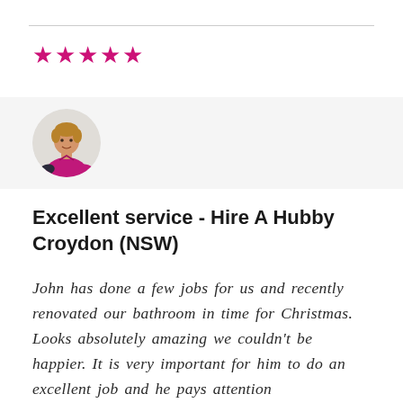[Figure (illustration): Five filled pink/magenta star icons indicating a 5-star rating]
[Figure (illustration): Circular avatar illustration of a man wearing a pink/magenta shirt, shown from the waist up, on a light grey background strip]
Excellent service - Hire A Hubby Croydon (NSW)
John has done a few jobs for us and recently renovated our bathroom in time for Christmas. Looks absolutely amazing we couldn't be happier. It is very important for him to do an excellent job and he pays attention